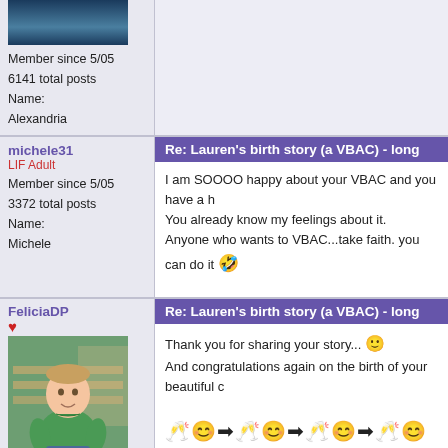[Figure (photo): Partial avatar image showing a dark blue/teal outdoor scene, cropped at top]
Member since 5/05
6141 total posts
Name: Alexandria
michele31
LIF Adult
Member since 5/05
3372 total posts
Name: Michele
Re: Lauren's birth story (a VBAC) - long
I am SOOOO happy about your VBAC and you have a h...
You already know my feelings about it.
Anyone who wants to VBAC...take faith. you can do it 😝
FeliciaDP
♥
[Figure (photo): Photo of a young boy in a green polo shirt, seated outdoors on what appears to be a wooden bench or chair]
Member since 5/05
18599 total posts
Re: Lauren's birth story (a VBAC) - long
Thank you for sharing your story... 🙂
And congratulations again on the birth of your beautiful c...
🥂😊➡🥂😊➡🥂😊➡🥂😊➡🥂😊➡